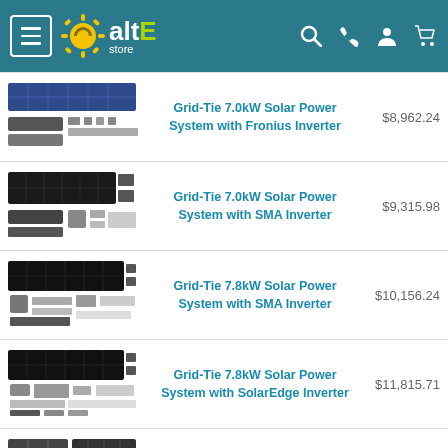altE store
Grid-Tie 7.0kW Solar Power System with Fronius Inverter — $8,962.24
Grid-Tie 7.0kW Solar Power System with SMA Inverter — $9,315.98
Grid-Tie 7.8kW Solar Power System with SMA Inverter — $10,156.24
Grid-Tie 7.8kW Solar Power System with SolarEdge Inverter — $11,815.71
Grid-Tied 10.9kW Residential Home Solar System with Battery Backup — $27,119.25